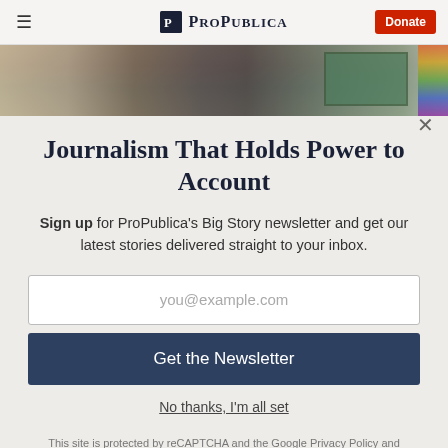ProPublica — Donate
[Figure (photo): Partial photo of a person in a classroom setting with a chalkboard visible]
Journalism That Holds Power to Account
Sign up for ProPublica's Big Story newsletter and get our latest stories delivered straight to your inbox.
you@example.com
Get the Newsletter
No thanks, I'm all set
This site is protected by reCAPTCHA and the Google Privacy Policy and Terms of Service apply.